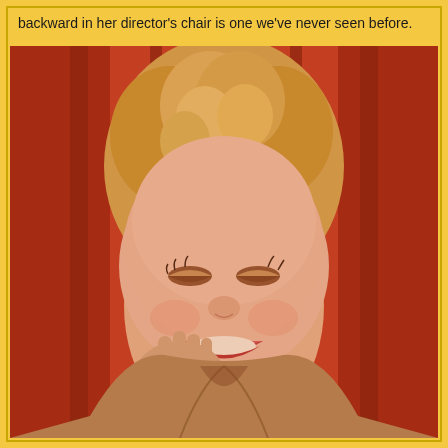backward in her director's chair is one we've never seen before.
[Figure (photo): Vintage sepia-toned photograph of a smiling blonde woman with curly hair, resting her hand near her face, wearing a casual jacket. Red-toned background with wood-like elements. Resembles a classic Hollywood actress portrait.]